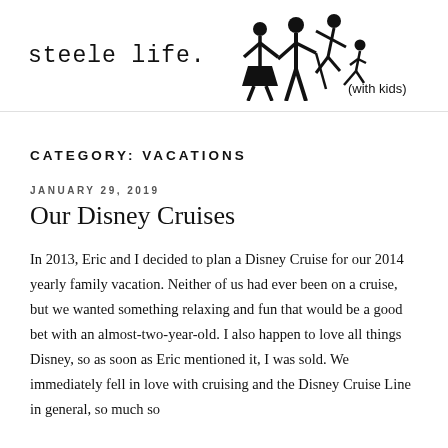steele life. (with kids) [logo with family stick figures]
CATEGORY: VACATIONS
JANUARY 29, 2019
Our Disney Cruises
In 2013, Eric and I decided to plan a Disney Cruise for our 2014 yearly family vacation. Neither of us had ever been on a cruise, but we wanted something relaxing and fun that would be a good bet with an almost-two-year-old. I also happen to love all things Disney, so as soon as Eric mentioned it, I was sold. We immediately fell in love with cruising and the Disney Cruise Line in general, so much so